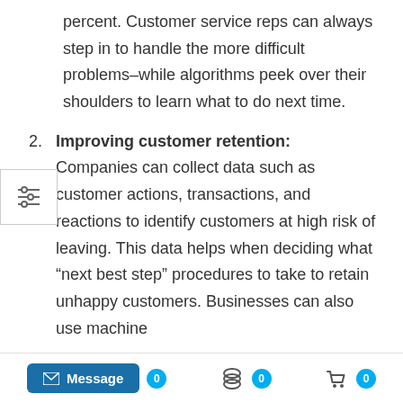percent. Customer service reps can always step in to handle the more difficult problems–while algorithms peek over their shoulders to learn what to do next time.
2. Improving customer retention: Companies can collect data such as customer actions, transactions, and reactions to identify customers at high risk of leaving. This data helps when deciding what “next best step” procedures to take to retain unhappy customers. Businesses can also use machine
Message  0  0  0